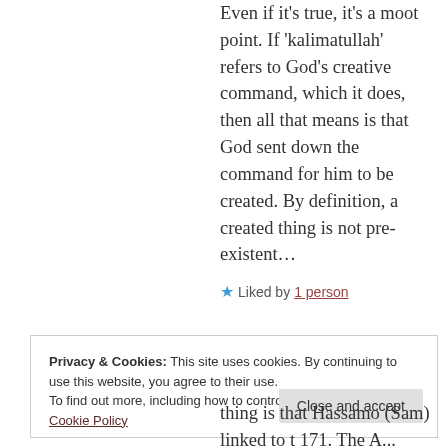Even if it's true, it's a moot point. If 'kalimatullah' refers to God's creative command, which it does, then all that means is that God sent down the command for him to be created. By definition, a created thing is not pre-existent...
★ Liked by 1 person
Privacy & Cookies: This site uses cookies. By continuing to use this website, you agree to their use.
To find out more, including how to control cookies, see here: Cookie Policy
Close and accept
thing is that Hassamo (Sam) li...